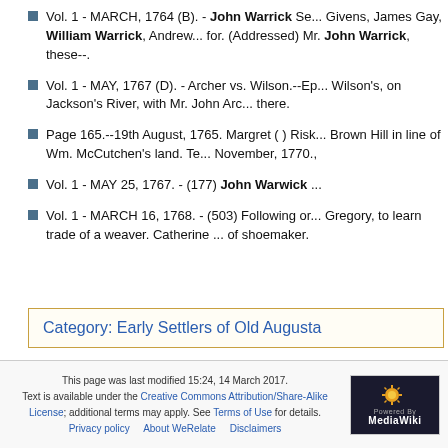Vol. 1 - MARCH, 1764 (B). - John Warrick Se... Givens, James Gay, William Warrick, Andrew... for. (Addressed) Mr. John Warrick, these--.
Vol. 1 - MAY, 1767 (D). - Archer vs. Wilson.--Ep... Wilson's, on Jackson's River, with Mr. John Arc... there.
Page 165.--19th August, 1765. Margret ( ) Risk... Brown Hill in line of Wm. McCutchen's land. Te... November, 1770.,
Vol. 1 - MAY 25, 1767. - (177) John Warwick ...
Vol. 1 - MARCH 16, 1768. - (503) Following or... Gregory, to learn trade of a weaver. Catherine ... of shoemaker.
Category: Early Settlers of Old Augusta
This page was last modified 15:24, 14 March 2017. Text is available under the Creative Commons Attribution/Share-Alike License; additional terms may apply. See Terms of Use for details. Privacy policy   About WeRelate   Disclaimers